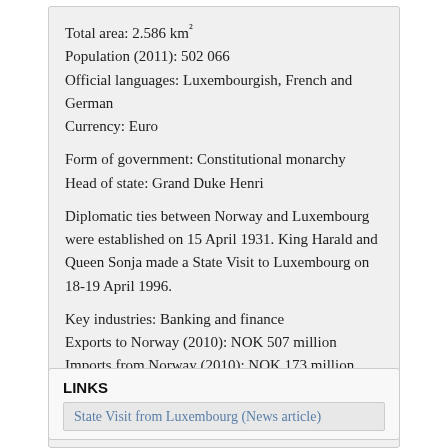Total area: 2.586 km²
Population (2011): 502 066
Official languages: Luxembourgish, French and German
Currency: Euro
Form of government: Constitutional monarchy
Head of state: Grand Duke Henri
Diplomatic ties between Norway and Luxembourg were established on 15 April 1931. King Harald and Queen Sonja made a State Visit to Luxembourg on 18-19 April 1996.
Key industries: Banking and finance
Exports to Norway (2010): NOK 507 million
Imports from Norway (2010): NOK 173 million
Source: Norwegian Ministry of Foreign Affairs
LINKS
State Visit from Luxembourg (News article)